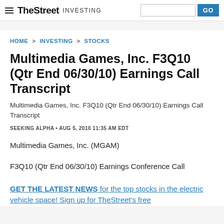TheStreet INVESTING
HOME > INVESTING > STOCKS
Multimedia Games, Inc. F3Q10 (Qtr End 06/30/10) Earnings Call Transcript
Multimedia Games, Inc. F3Q10 (Qtr End 06/30/10) Earnings Call Transcript
SEEKING ALPHA • AUG 5, 2010 11:35 AM EDT
Multimedia Games, Inc. (MGAM)
F3Q10 (Qtr End 06/30/10) Earnings Conference Call
GET THE LATEST NEWS for the top stocks in the electric vehicle space! Sign up for TheStreet's free